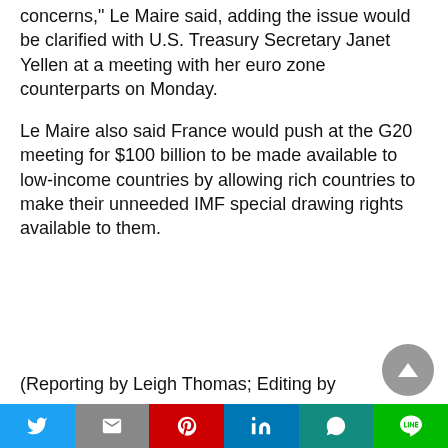concerns," Le Maire said, adding the issue would be clarified with U.S. Treasury Secretary Janet Yellen at a meeting with her euro zone counterparts on Monday.
Le Maire also said France would push at the G20 meeting for $100 billion to be made available to low-income countries by allowing rich countries to make their unneeded IMF special drawing rights available to them.
(Reporting by Leigh Thomas; Editing by David
[Figure (other): Scroll-to-top circular button with upward triangle arrow icon]
Twitter | Gmail | Pinterest | LinkedIn | WhatsApp | Line social share buttons